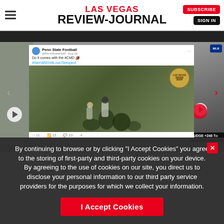LAS VEGAS REVIEW-JOURNAL
[Figure (screenshot): Carousel of media content: left panel shows a tweet from Penn State Football with a photo of football players practicing on a green field, center shows a social media post, right panel shows an MLB-related video thumbnail with text JUDGE +240 and William Hill Sportsbook]
By continuing to browse or by clicking "I Accept Cookies" you agree to the storing of first-party and third-party cookies on your device. By agreeing to the use of cookies on our site, you direct us to disclose your personal information to our third party service providers for the purposes for which we collect your information.
I Accept Cookies